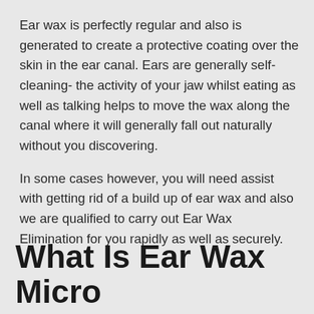Ear wax is perfectly regular and also is generated to create a protective coating over the skin in the ear canal. Ears are generally self-cleaning- the activity of your jaw whilst eating as well as talking helps to move the wax along the canal where it will generally fall out naturally without you discovering.
In some cases however, you will need assist with getting rid of a build up of ear wax and also we are qualified to carry out Ear Wax Elimination for you rapidly as well as securely.
What Is Ear Wax Micro